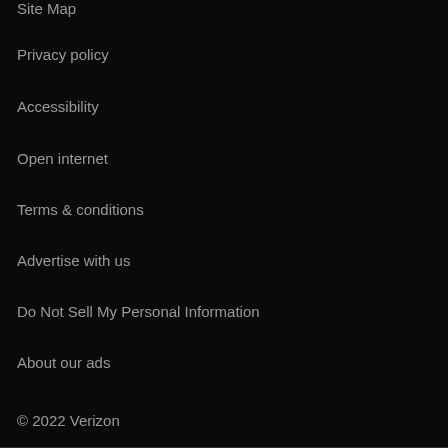Site Map
Privacy policy
Accessibility
Open internet
Terms & conditions
Advertise with us
Do Not Sell My Personal Information
About our ads
© 2022 Verizon